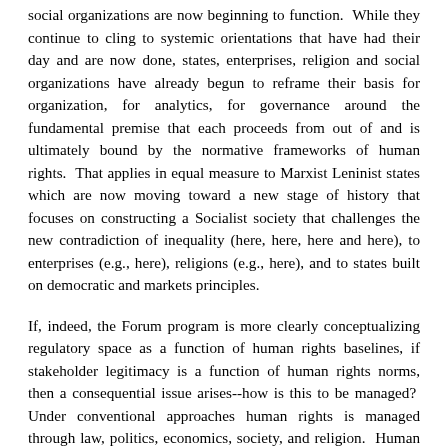social organizations are now beginning to function.  While they continue to cling to systemic orientations that have had their day and are now done, states, enterprises, religion and social organizations have already begun to reframe their basis for organization, for analytics, for governance around the fundamental premise that each proceeds from out of and is ultimately bound by the normative frameworks of human rights.  That applies in equal measure to Marxist Leninist states which are now moving toward a new stage of history that focuses on constructing a Socialist society that challenges the new contradiction of inequality (here, here, here and here), to enterprises (e.g., here), religions (e.g., here), and to states built on democratic and markets principles.
If, indeed, the Forum program is more clearly conceptualizing regulatory space as a function of human rights baselines, if stakeholder legitimacy is a function of human rights norms, then a consequential issue arises--how is this to be managed? Under conventional approaches human rights is managed through law, politics, economics, society, and religion.  Human rights is an input (values) and outcome (protection of the objects of human rights). But where law, economics, politics,  society and religion are managed through human rights, then a different model is required.